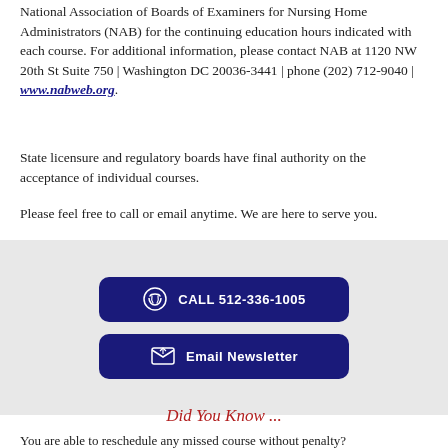National Association of Boards of Examiners for Nursing Home Administrators (NAB) for the continuing education hours indicated with each course. For additional information, please contact NAB at 1120 NW 20th St Suite 750 | Washington DC 20036-3441 | phone (202) 712-9040 | www.nabweb.org.
State licensure and regulatory boards have final authority on the acceptance of individual courses.
Please feel free to call or email anytime. We are here to serve you.
[Figure (infographic): Two dark navy blue buttons: 'CALL 512-336-1005' with phone icon and 'Email Newsletter' with envelope icon, on a light gray background]
Did You Know ...
You are able to reschedule any missed course without penalty?
CHA Seminars will help you with course selection for your license renewal?